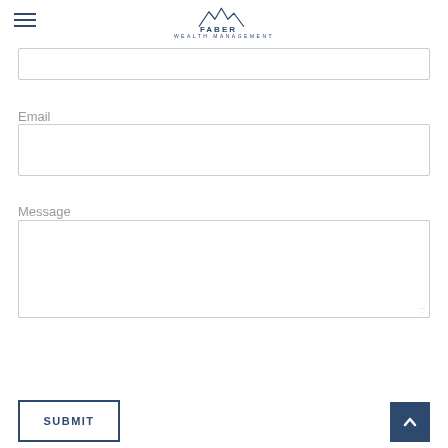Faber Wealth Management
Email
Message
SUBMIT